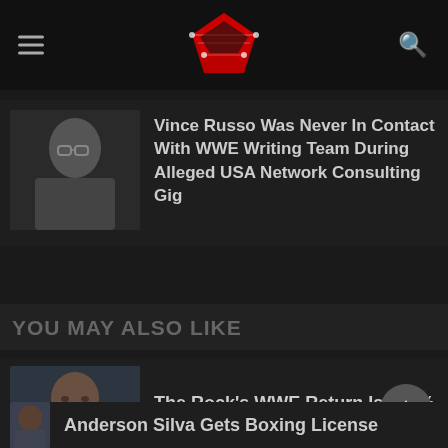[Figure (logo): Wrestling website logo — a red and black wrestling ring icon in the center of a dark navigation bar, with hamburger menu icon on the left and search icon on the right]
Vince Russo Was Never In Contact With WWE Writing Team During Alleged USA Network Consulting Gig
YOU MAY ALSO LIKE
The Rock's WWE Return Is 100% His Call
Anderson Silva Gets Boxing License